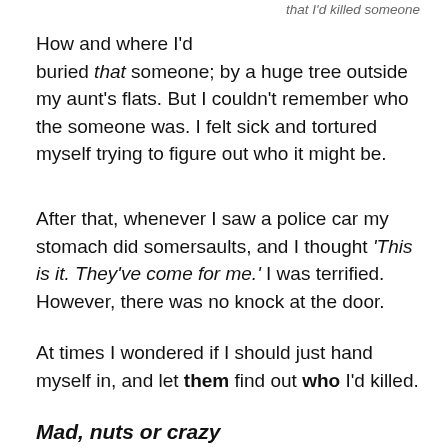that I'd killed someone
How and where I'd buried that someone; by a huge tree outside my aunt's flats. But I couldn't remember who the someone was. I felt sick and tortured myself trying to figure out who it might be.
After that, whenever I saw a police car my stomach did somersaults, and I thought 'This is it. They've come for me.' I was terrified. However, there was no knock at the door.
At times I wondered if I should just hand myself in, and let them find out who I'd killed.
Mad, nuts or crazy